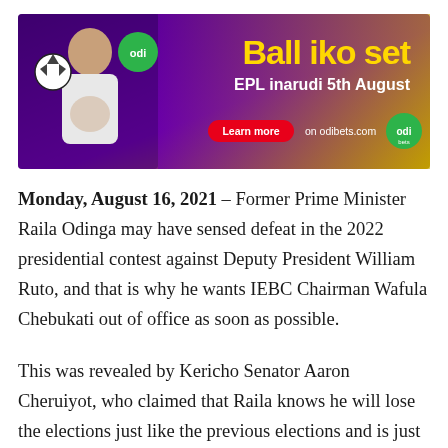[Figure (illustration): Odibets advertisement banner showing a pregnant woman holding a soccer ball, with text 'Ball iko set EPL inarudi 5th August' and 'Learn more on odibets.com' with Odi Bets logo on purple/gold background.]
Monday, August 16, 2021 – Former Prime Minister Raila Odinga may have sensed defeat in the 2022 presidential contest against Deputy President William Ruto, and that is why he wants IEBC Chairman Wafula Chebukati out of office as soon as possible.
This was revealed by Kericho Senator Aaron Cheruiyot, who claimed that Raila knows he will lose the elections just like the previous elections and is just trying to find an excuse.